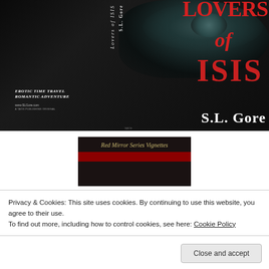[Figure (illustration): Book cover of 'Lovers of Isis' by S.L. Gore. Dark background with a close-up of a mysterious eye. Title text in red: 'Lovers of ISIS' and author name 'S.L. Gore' in white. Left side shows subtitle 'Erotic Time Travel Romantic Adventure' and website www.SLGore.com. Spine text visible.]
[Figure (illustration): Partial view of second book cover showing 'Red Mirror Series Vignettes' in script lettering on dark background with red accent bar at bottom.]
Privacy & Cookies: This site uses cookies. By continuing to use this website, you agree to their use.
To find out more, including how to control cookies, see here: Cookie Policy
Close and accept